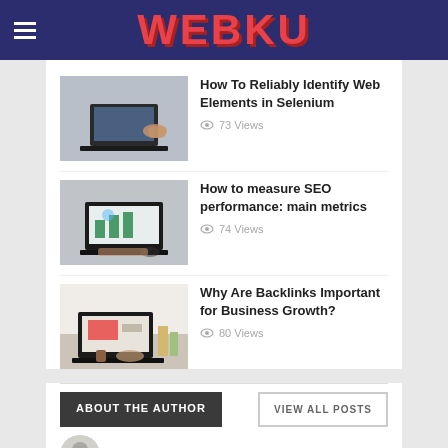WEBKU
[Figure (photo): Person using laptop and tablet on desk]
How To Reliably Identify Web Elements in Selenium
73 Views
[Figure (photo): Person using laptop with analytics dashboard visible, glasses on desk]
How to measure SEO performance: main metrics
74 Views
[Figure (photo): Person using laptop at desk with books and coffee cup]
Why Are Backlinks Important for Business Growth?
80 Views
ABOUT THE AUTHOR
VIEW ALL POSTS
Jimmy